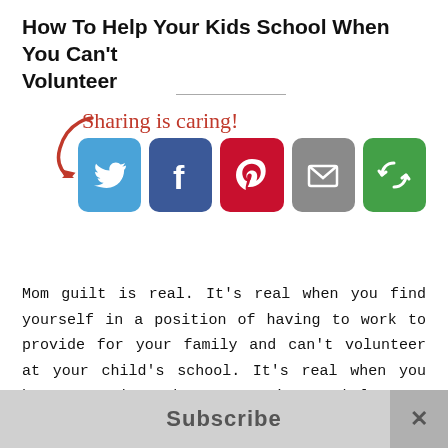How To Help Your Kids School When You Can't Volunteer
[Figure (infographic): Sharing is caring! banner with arrow and social media buttons: Twitter (blue bird), Facebook (blue f), Pinterest (red p), Email (grey envelope), Share (green circular arrows)]
Mom guilt is real. It's real when you find yourself in a position of having to work to provide for your family and can't volunteer at your child's school. It's real when you have turn down the opportunity to help your kids teacher on a field trip day. It's real when you can't be there during working hours even though work is the last place you want to be. But it doesn't
Subscribe ×